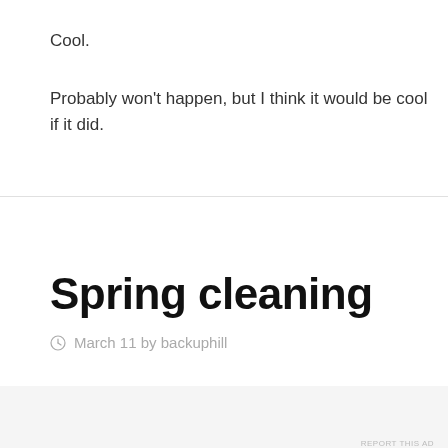Cool.
Probably won't happen, but I think it would be cool if it did.
Spring cleaning
March 11 by backuphill
Advertisements
[Figure (logo): Longreads logo with red circle and L icon]
Bringing you the best stories on the web since 2009.